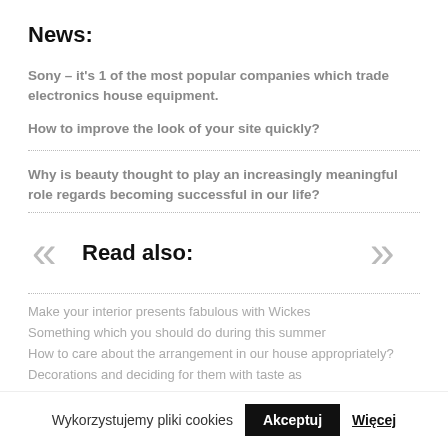News:
Sony – it's 1 of the most popular companies which trade electronics house equipment.
How to improve the look of your site quickly?
Why is beauty thought to play an increasingly meaningful role regards becoming successful in our life?
Read also:
Make your interior presents fabulous with Wickes
Something which you should do during this summer
How to care about the arrangement in our house appropriately? Decorations and deciding for them with taste as
Wykorzystujemy pliki cookies   Akceptuj   Więcej